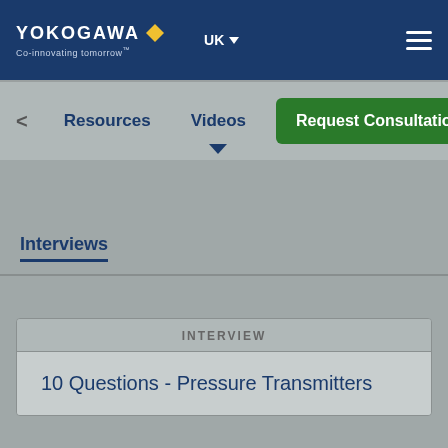[Figure (screenshot): Yokogawa logo with diamond shape and tagline Co-innovating tomorrow, UK region selector, hamburger menu]
[Figure (screenshot): Navigation bar with Resources, Videos tabs and Request Consultation green button]
Interviews
INTERVIEW
10 Questions - Pressure Transmitters